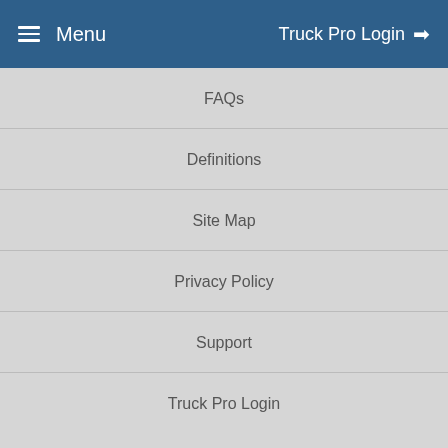Menu  Truck Pro Login
FAQs
Definitions
Site Map
Privacy Policy
Support
Truck Pro Login
[Figure (logo): Circular white logo badge with a stylized C letter in a dark box]
Route 23 Auto Mall, LLC. located in Butler, NJ
Powered By
[Figure (logo): Work Truck Solutions logo in black with white text]